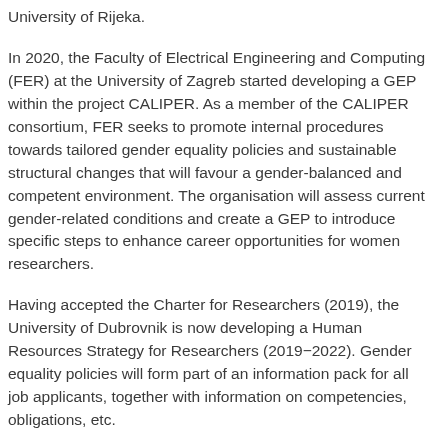University of Rijeka.
In 2020, the Faculty of Electrical Engineering and Computing (FER) at the University of Zagreb started developing a GEP within the project CALIPER. As a member of the CALIPER consortium, FER seeks to promote internal procedures towards tailored gender equality policies and sustainable structural changes that will favour a gender-balanced and competent environment. The organisation will assess current gender-related conditions and create a GEP to introduce specific steps to enhance career opportunities for women researchers.
Having accepted the Charter for Researchers (2019), the University of Dubrovnik is now developing a Human Resources Strategy for Researchers (2019−2022). Gender equality policies will form part of an information pack for all job applicants, together with information on competencies, obligations, etc.